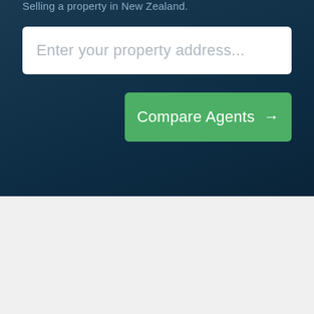Selling a property in New Zealand.
Enter your property address...
Compare Agents →
FIND THE TOP REAL ESTATE AGENTS IN NZ:
Find the top performing real